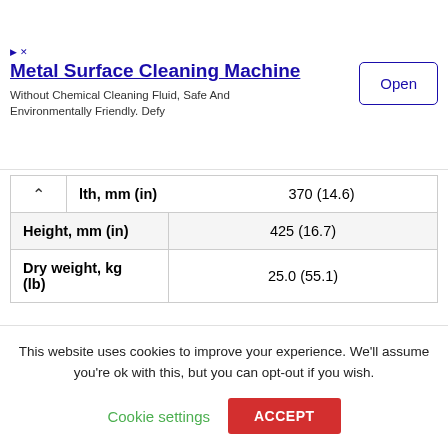[Figure (other): Advertisement banner for Metal Surface Cleaning Machine with Open button]
|  |  |
| --- | --- |
| lth, mm (in) | 370 (14.6) |
| Height, mm (in) | 425 (16.7) |
| Dry weight, kg (lb) | 25.0 (55.1) |
This website uses cookies to improve your experience. We'll assume you're ok with this, but you can opt-out if you wish.
Cookie settings   ACCEPT